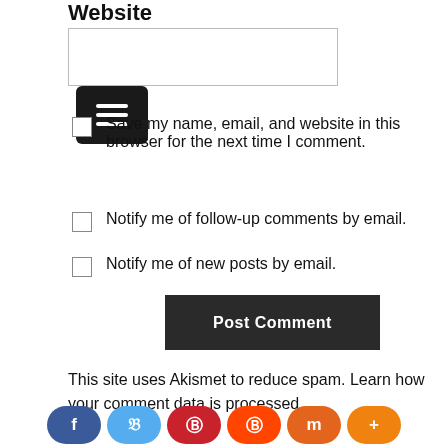Website
[Figure (screenshot): Website text input field with a dark hamburger menu button on the right]
Save my name, email, and website in this browser for the next time I comment.
Notify me of follow-up comments by email.
Notify me of new posts by email.
[Figure (other): Post Comment button (dark background, white bold text)]
This site uses Akismet to reduce spam. Learn how your comment data is processed.
[Figure (other): Social sharing bar with Facebook, Twitter, Pinterest, Reddit, Mix, and More buttons]